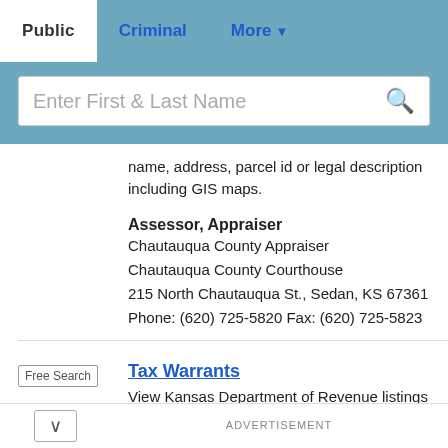Public | Criminal | More
[Figure (screenshot): Search bar with placeholder text 'Enter First & Last Name' and a search icon on the right, set against a steel-blue background]
name, address, parcel id or legal description including GIS maps.
Assessor, Appraiser
Chautauqua County Appraiser
Chautauqua County Courthouse
215 North Chautauqua St., Sedan, KS 67361
Phone: (620) 725-5820 Fax: (620) 725-5823
Tax Warrants
View Kansas Department of Revenue listings of businesses and individuals who have
ADVERTISEMENT